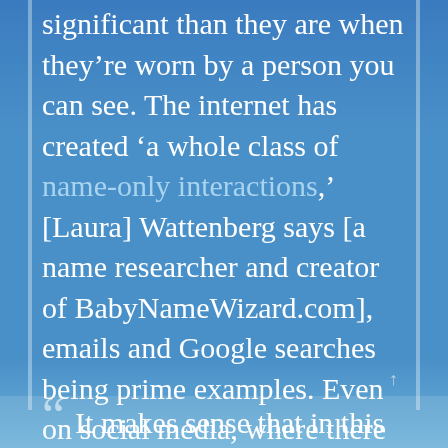significant than they are when they're worn by a person you can see. The internet has created 'a whole class of name-only interactions,' [Laura] Wattenberg says [a name researcher and creator of BabyNameWizard.com], emails and Google searches being prime examples. Even on social media, where there are pictures, much of a person's existence is textual. ↑
It makes sense that in this